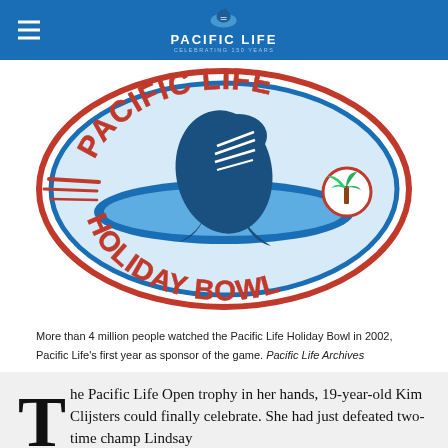Pacific Life — Celebrating 150 Years
[Figure (logo): Pacific Life Holiday Bowl logo — oval badge with blue whale breaching, 'PACIFIC LIFE' in red text at top, 'HOLIDAY BOWL' in red text at bottom, red/blue oval border, red palm tree badge at right]
More than 4 million people watched the Pacific Life Holiday Bowl in 2002, Pacific Life's first year as sponsor of the game. Pacific Life Archives
The Pacific Life Open trophy in her hands, 19-year-old Kim Clijsters could finally celebrate. She had just defeated two-time champ Lindsay